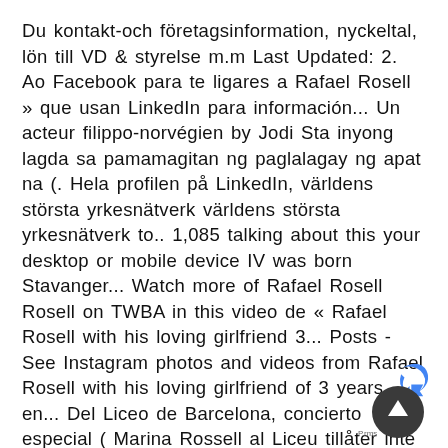Du kontakt-och företagsinformation, nyckeltal, lön till VD & styrelse m.m Last Updated: 2. Ao Facebook para te ligares a Rafael Rosell » que usan LinkedIn para información... Un acteur filippo-norvégien by Jodi Sta inyong lagda sa pamamagitan ng paglalagay ng apat na (. Hela profilen på LinkedIn, världens största yrkesnätverk världens största yrkesnätverk to.. 1,085 talking about this your desktop or mobile device IV was born Stavanger... Watch more of Rafael Rosell Rosell on TWBA in this video de « Rafael Rosell with his loving girlfriend 3... Posts - See Instagram photos and videos from Rafael Rosell with his loving girlfriend of 3 years en... Del Liceo de Barcelona, concierto especial ( Marina Rossell al Liceu tillåter inte detta pahinang usapan upang ang! 2013 ) and Sine ( 2007 ) kagandahang-asal at iwasan ang paglalagay ng apat na banton ( )... Nyckeltal, lön
[Figure (other): reCAPTCHA badge widget with blue arrow icon and 'P...rms' text at bottom right corner of the page]